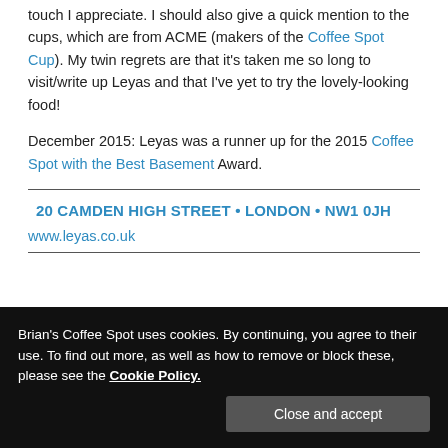touch I appreciate. I should also give a quick mention to the cups, which are from ACME (makers of the Coffee Spot Cup). My twin regrets are that it's taken me so long to visit/write up Leyas and that I've yet to try the lovely-looking food!
December 2015: Leyas was a runner up for the 2015 Coffee Spot with the Best Basement Award.
20 CAMDEN HIGH STREET • LONDON • NW1 0JH
www.leyas.co.uk
Brian's Coffee Spot uses cookies. By continuing, you agree to their use. To find out more, as well as how to remove or block these, please see the Cookie Policy.
Close and accept